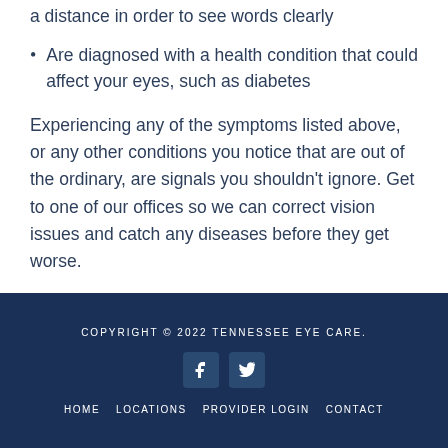a distance in order to see words clearly
Are diagnosed with a health condition that could affect your eyes, such as diabetes
Experiencing any of the symptoms listed above, or any other conditions you notice that are out of the ordinary, are signals you shouldn't ignore. Get to one of our offices so we can correct vision issues and catch any diseases before they get worse.
Contact our office.
COPYRIGHT © 2022 TENNESSEE EYE CARE.   HOME   LOCATIONS   PROVIDER LOGIN   CONTACT